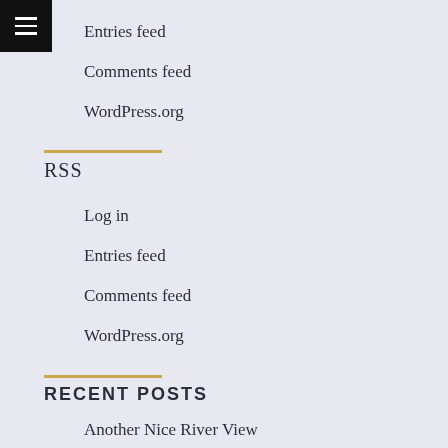Entries feed
Comments feed
WordPress.org
RSS
Log in
Entries feed
Comments feed
WordPress.org
RECENT POSTS
Another Nice River View